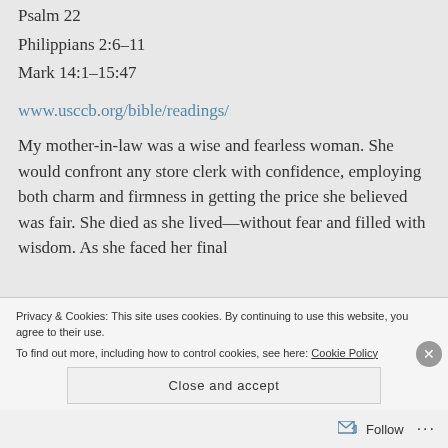Psalm 22
Philippians 2:6-11
Mark 14:1-15:47
www.usccb.org/bible/readings/
My mother-in-law was a wise and fearless woman. She would confront any store clerk with confidence, employing both charm and firmness in getting the price she believed was fair. She died as she lived—without fear and filled with wisdom. As she faced her final
Privacy & Cookies: This site uses cookies. By continuing to use this website, you agree to their use.
To find out more, including how to control cookies, see here: Cookie Policy
Close and accept
Follow